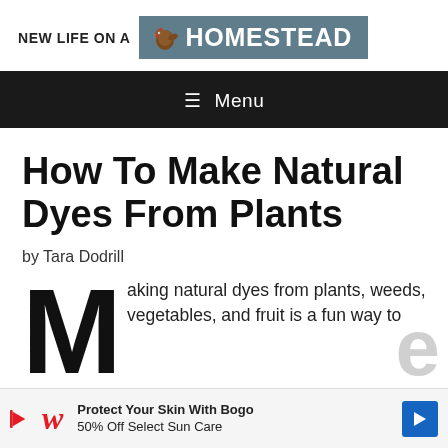NEW LIFE ON A HOMESTEAD
Menu
How To Make Natural Dyes From Plants
by Tara Dodrill
Making natural dyes from plants, weeds, vegetables, and fruit is a fun way to
[Figure (other): Advertisement: Walgreens - Protect Your Skin With Bogo 50% Off Select Sun Care]